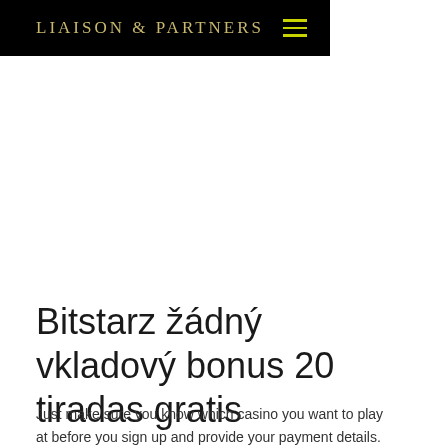LIAISON & PARTNERS
Bitstarz žádný vkladový bonus 20 tiradas gratis
Just make sure you know which casino you want to play at before you sign up and provide your payment details. Once you've bought your coins and are happy that you...